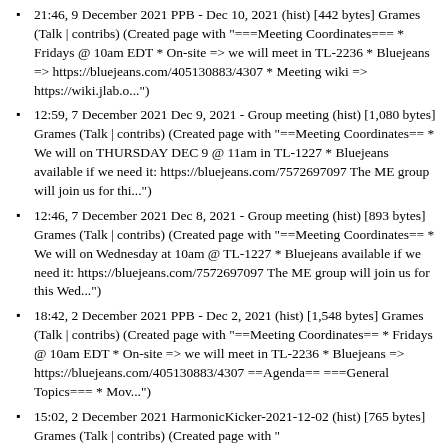21:46, 9 December 2021 PPB - Dec 10, 2021 (hist) [442 bytes] Grames (Talk | contribs) (Created page with "===Meeting Coordinates=== * Fridays @ 10am EDT * On-site => we will meet in TL-2236 * Bluejeans => https://bluejeans.com/405130883/4307 * Meeting wiki => https://wiki.jlab.o...")
12:59, 7 December 2021 Dec 9, 2021 - Group meeting (hist) [1,080 bytes] Grames (Talk | contribs) (Created page with "==Meeting Coordinates== * We will on THURSDAY DEC 9 @ 11am in TL-1227 * Bluejeans available if we need it: https://bluejeans.com/7572697097 The ME group will join us for thi...")
12:46, 7 December 2021 Dec 8, 2021 - Group meeting (hist) [893 bytes] Grames (Talk | contribs) (Created page with "==Meeting Coordinates== * We will on Wednesday at 10am @ TL-1227 * Bluejeans available if we need it: https://bluejeans.com/7572697097 The ME group will join us for this Wed...")
18:42, 2 December 2021 PPB - Dec 2, 2021 (hist) [1,548 bytes] Grames (Talk | contribs) (Created page with "==Meeting Coordinates== * Fridays @ 10am EDT * On-site => we will meet in TL-2236 * Bluejeans => https://bluejeans.com/405130883/4307 ==Agenda== ===General Topics=== * Mov...")
15:02, 2 December 2021 HarmonicKicker-2021-12-02 (hist) [765 bytes] Grames (Talk | contribs) (Created page with "